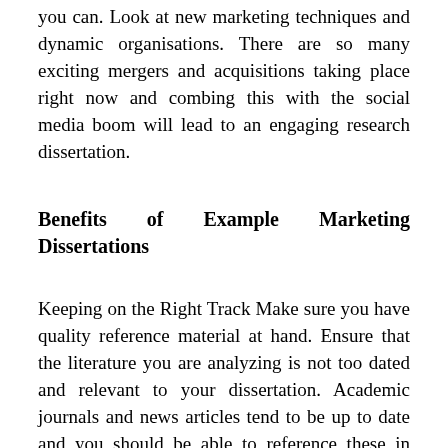you can. Look at new marketing techniques and dynamic organisations. There are so many exciting mergers and acquisitions taking place right now and combing this with the social media boom will lead to an engaging research dissertation.
Benefits of Example Marketing Dissertations
Keeping on the Right Track Make sure you have quality reference material at hand. Ensure that the literature you are analyzing is not too dated and relevant to your dissertation. Academic journals and news articles tend to be up to date and you should be able to reference these in your own marketing dissertation. I decided not to include journal entries or news articles greater than five years. You must include key academic publications and marketing